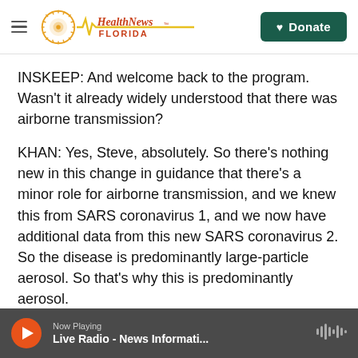[Figure (logo): Health News Florida logo with hamburger menu icon]
[Figure (other): Green Donate button with heart icon]
INSKEEP: And welcome back to the program. Wasn't it already widely understood that there was airborne transmission?
KHAN: Yes, Steve, absolutely. So there's nothing new in this change in guidance that there's a minor role for airborne transmission, and we knew this from SARS coronavirus 1, and we now have additional data from this new SARS coronavirus 2. So the disease is predominantly large-particle aerosol. So that's why this is predominantly aerosol.
Now Playing — Live Radio - News Informati...